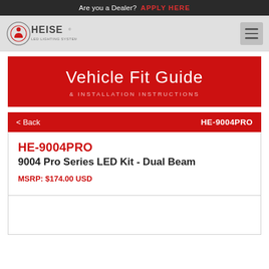Are you a Dealer? APPLY HERE
[Figure (logo): HEISE LED Lighting Systems logo]
Vehicle Fit Guide & INSTALLATION INSTRUCTIONS
< Back   HE-9004PRO
HE-9004PRO
9004 Pro Series LED Kit - Dual Beam
MSRP: $174.00 USD
[Figure (photo): Product image placeholder area]